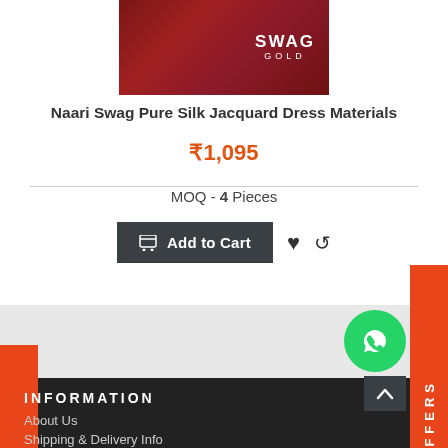[Figure (photo): Product photo showing Naari Swag Pure Silk Jacquard Dress Materials with SWAG GOLD logo overlay]
Naari Swag Pure Silk Jacquard Dress Materials
₹1,095
MOQ - 4 Pieces
Add to Cart
INFORMATION
About Us
Shipping & Delivery Info